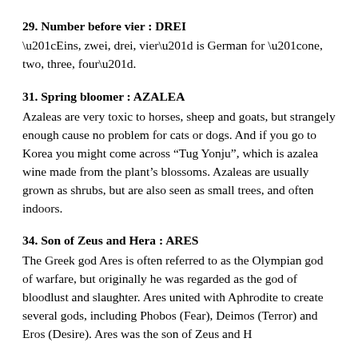29. Number before vier : DREI
“Eins, zwei, drei, vier” is German for “one, two, three, four”.
31. Spring bloomer : AZALEA
Azaleas are very toxic to horses, sheep and goats, but strangely enough cause no problem for cats or dogs. And if you go to Korea you might come across “Tug Yonju”, which is azalea wine made from the plant’s blossoms. Azaleas are usually grown as shrubs, but are also seen as small trees, and often indoors.
34. Son of Zeus and Hera : ARES
The Greek god Ares is often referred to as the Olympian god of warfare, but originally he was regarded as the god of bloodlust and slaughter. Ares united with Aphrodite to create several gods, including Phobos (Fear), Deimos (Terror) and Eros (Desire). Ares was the son of Zeus and Hera, and the Romans equated him to their own god Mars.